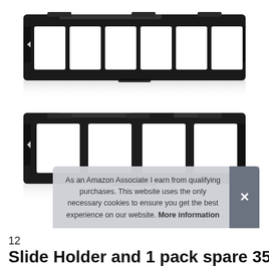[Figure (photo): Two black plastic film slide holders. The top holder has 6 rectangular slots for 35mm film strips. The bottom holder has 4 larger square slots for slides. Both shown with their reflections on a white background.]
As an Amazon Associate I earn from qualifying purchases. This website uses the only necessary cookies to ensure you get the best experience on our website. More information
12
Slide Holder and 1 pack spare 35mm